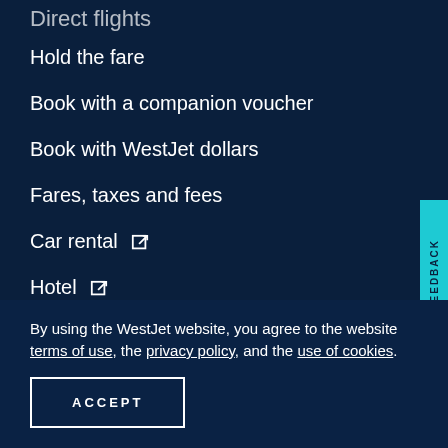Direct flights
Hold the fare
Book with a companion voucher
Book with WestJet dollars
Fares, taxes and fees
Car rental [external link]
Hotel [external link]
Destinations
BEFORE YOU GO
Baggage allowance
Seat selection
Children and family
Pets
Special needs
By using the WestJet website, you agree to the website terms of use, the privacy policy, and the use of cookies.
ACCEPT